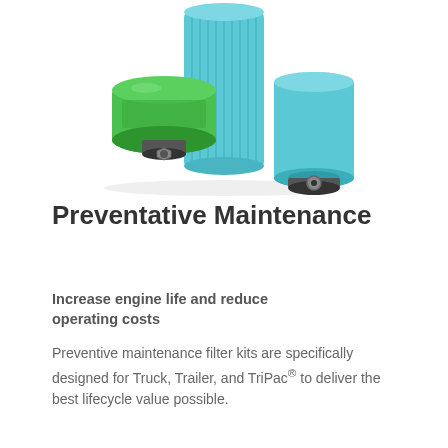[Figure (photo): Three automotive/truck filters: a green spin-on oil filter on the left, a tall blue cylindrical pleated air filter in the center-back, and a blue canister filter on the right, arranged together on a white background.]
Preventative Maintenance
Increase engine life and reduce operating costs
Preventive maintenance filter kits are specifically designed for Truck, Trailer, and TriPac® to deliver the best lifecycle value possible.